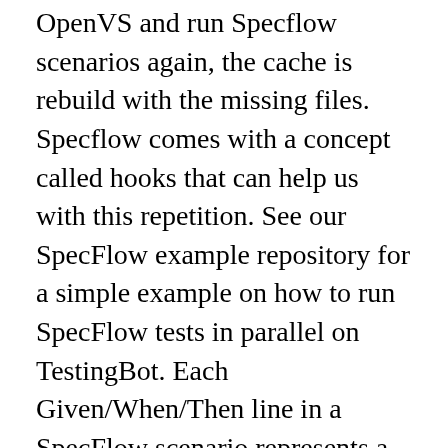OpenVS and run Specflow scenarios again, the cache is rebuild with the missing files. Specflow comes with a concept called hooks that can help us with this repetition. See our SpecFlow example repository for a simple example on how to run SpecFlow tests in parallel on TestingBot. Each Given/When/Then line in a SpecFlow scenario represents a step, and steps should be reused across features and scenarios to test your application from different angles. Even while there is a workaround this is really slowing me down when developing new tests. True I cant right click the file and choose "Run Specflow Scenarios" either (Nothing happens) is that the same error? when I click 'Run SpecFlow scenarios' or 'Debug SpecFlow